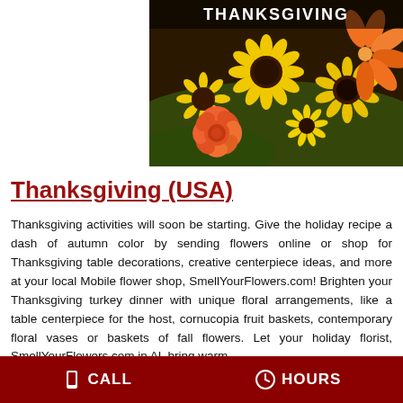[Figure (photo): Thanksgiving floral arrangement photo with orange roses, sunflowers, lilies and the word THANKSGIVING in white text on dark background at top]
Thanksgiving (USA)
Thanksgiving activities will soon be starting. Give the holiday recipe a dash of autumn color by sending flowers online or shop for Thanksgiving table decorations, creative centerpiece ideas, and more at your local Mobile flower shop, SmellYourFlowers.com! Brighten your Thanksgiving turkey dinner with unique floral arrangements, like a table centerpiece for the host, cornucopia fruit baskets, contemporary floral vases or baskets of fall flowers. Let your holiday florist, SmellYourFlowers.com in AL bring warm
CALL   HOURS